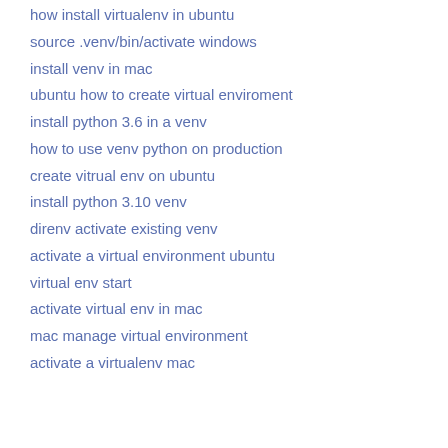how install virtualenv in ubuntu
source .venv/bin/activate windows
install venv in mac
ubuntu how to create virtual enviroment
install python 3.6 in a venv
how to use venv python on production
create vitrual env on ubuntu
install python 3.10 venv
direnv activate existing venv
activate a virtual environment ubuntu
virtual env start
activate virtual env in mac
mac manage virtual environment
activate a virtualenv mac